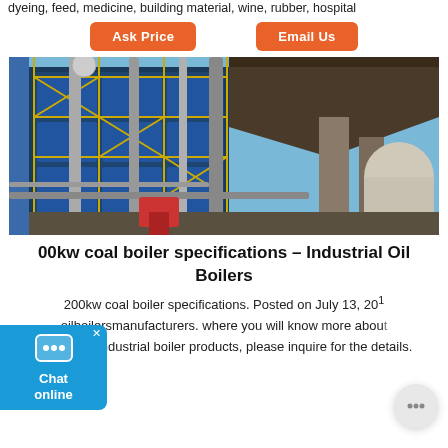dyeing, feed, medicine, building material, wine, rubber, hospital
Ask Price    Email Us
[Figure (photo): Large industrial coal boiler facility with scaffolding, pipes, and industrial equipment under a covered structure with blue sky visible]
200kw coal boiler specifications – Industrial Oil Boilers
200kw coal boiler specifications. Posted on July 13, 201 oilboilersmanufacturers. where you will know more about Boiler and industrial boiler products, please inquire for the details.